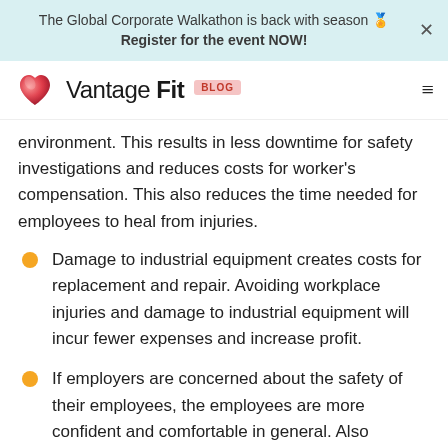The Global Corporate Walkathon is back with season 🏅 Register for the event NOW!
Vantage Fit BLOG
environment. This results in less downtime for safety investigations and reduces costs for worker's compensation. This also reduces the time needed for employees to heal from injuries.
Damage to industrial equipment creates costs for replacement and repair. Avoiding workplace injuries and damage to industrial equipment will incur fewer expenses and increase profit.
If employers are concerned about the safety of their employees, the employees are more confident and comfortable in general. Also